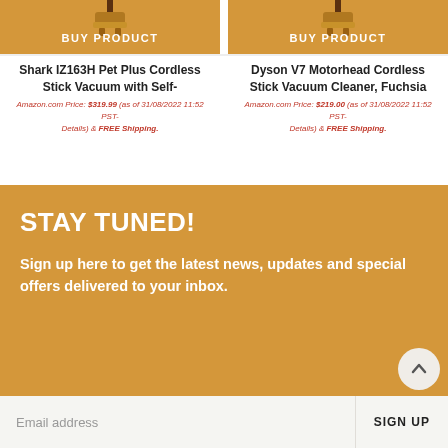[Figure (photo): Product card for Shark IZ163H Pet Plus Cordless Stick Vacuum with a golden Buy Product button and vacuum image]
Shark IZ163H Pet Plus Cordless Stick Vacuum with Self-
Amazon.com Price: $319.99 (as of 31/08/2022 11:52 PST- Details) & FREE Shipping.
[Figure (photo): Product card for Dyson V7 Motorhead Cordless Stick Vacuum Cleaner Fuchsia with a golden Buy Product button and vacuum image]
Dyson V7 Motorhead Cordless Stick Vacuum Cleaner, Fuchsia
Amazon.com Price: $219.00 (as of 31/08/2022 11:52 PST- Details) & FREE Shipping.
STAY TUNED!
Sign up here to get the latest news, updates and special offers delivered to your inbox.